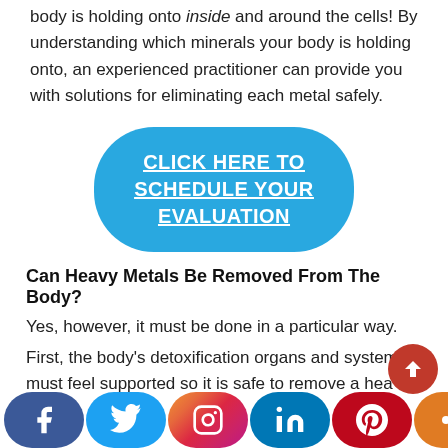body is holding onto inside and around the cells! By understanding which minerals your body is holding onto, an experienced practitioner can provide you with solutions for eliminating each metal safely.
[Figure (other): Blue rounded rectangle call-to-action button with white underlined text: CLICK HERE TO SCHEDULE YOUR EVALUATION]
Can Heavy Metals Be Removed From The Body?
Yes, however, it must be done in a particular way.
First, the body's detoxification organs and systems must feel supported so it is safe to remove a hea...
[Figure (infographic): Social media sharing bar at the bottom with Facebook, Twitter, Instagram, LinkedIn, Pinterest, and share icons, plus a red scroll-to-top button]